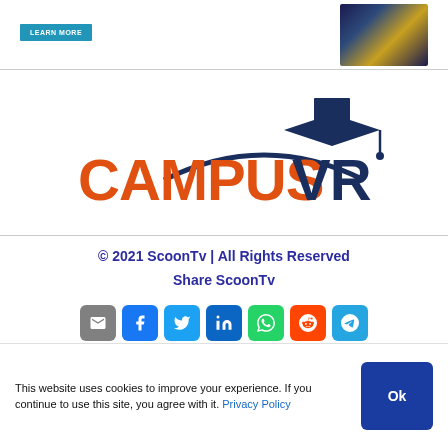[Figure (screenshot): Top bar with LEARN MORE button and a city/campus photo thumbnail on the right]
[Figure (logo): CampusVR logo — orange text 'CAMPUS' and dark blue 'VR' with a graduation cap icon above the V]
© 2021 ScoonTv | All Rights Reserved
Share ScoonTv
[Figure (infographic): Row of 7 social share icon buttons: email (grey), Facebook (blue), Twitter (light blue), LinkedIn (dark blue), WhatsApp (green), Reddit (orange-red), Telegram (blue)]
Privacy Policy
This website uses cookies to improve your experience. If you continue to use this site, you agree with it. Privacy Policy